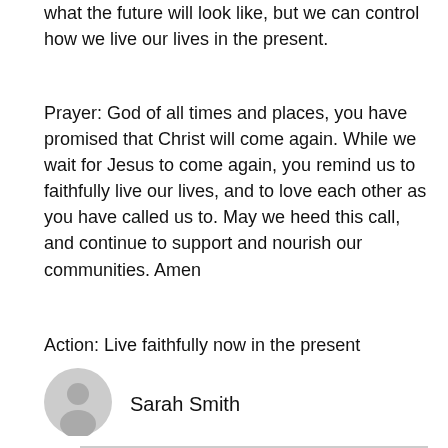what the future will look like, but we can control how we live our lives in the present.
Prayer: God of all times and places, you have promised that Christ will come again. While we wait for Jesus to come again, you remind us to faithfully live our lives, and to love each other as you have called us to. May we heed this call, and continue to support and nourish our communities. Amen
Action: Live faithfully now in the present
[Figure (illustration): Generic user avatar icon — circular grey silhouette of a person's head and shoulders]
Sarah Smith